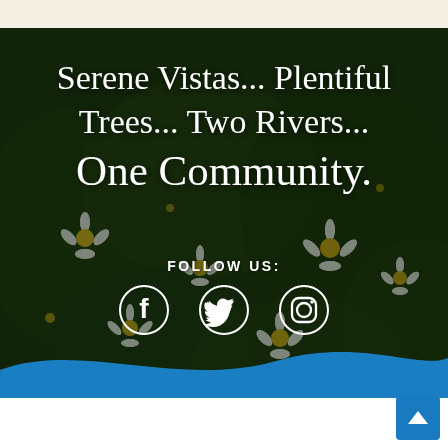[Figure (photo): Background photo of white daisy flowers with green foliage, overlaid with dark tint]
Serene Vistas... Plentiful Trees... Two Rivers... One Community.
FOLLOW US:
[Figure (infographic): Social media icons: Facebook, Twitter, Instagram in white]
[Figure (infographic): Blue wave footer with back-to-top button]